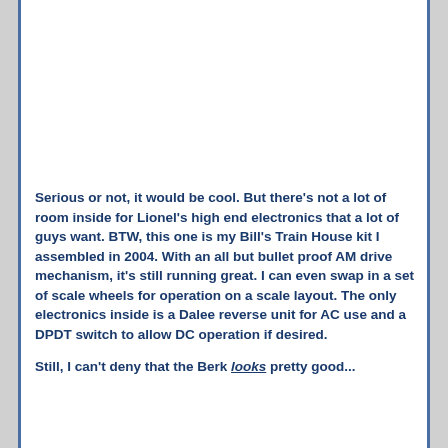[Figure (photo): Photo of a model train locomotive (yellow and blue/white) on model railroad track with green scenery/grass in the background, viewed from a low angle.]
Serious or not, it would be cool.  But there's not a lot of room inside for Lionel's high end electronics that a lot of guys want.   BTW, this one is my Bill's Train House kit I assembled in 2004.  With an all but bullet proof AM drive mechanism,  it's still running great.  I can even swap in a set of scale wheels for operation on a scale layout.  The only electronics inside is a Dalee reverse unit for AC use and a DPDT switch to allow DC operation if desired.
Still,  I can't deny that the Berk looks pretty good...